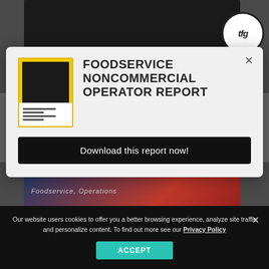[Figure (screenshot): Background website screenshot showing foodservice articles with dark menu board image and TFG logo]
[Figure (screenshot): Modal popup dialog for Foodservice Noncommercial Operator Report download]
FOODSERVICE NONCOMMERCIAL OPERATOR REPORT
Download this report now!
Foodservice, Operations
Foodservice, Operations
Our website users cookies to offer you a better browsing experience, analyze site traffic and personalize content. To find out more see our Privacy Policy
ACCEPT